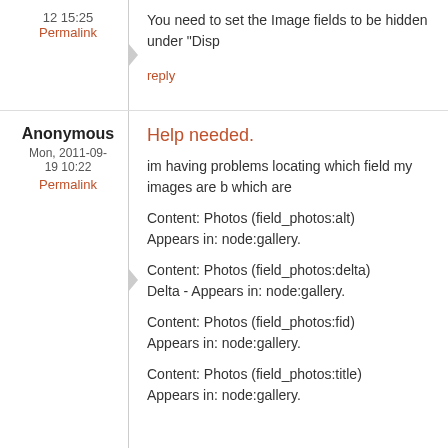12 15:25
Permalink
You need to set the Image fields to be hidden under "Disp
reply
Anonymous
Mon, 2011-09-19 10:22
Permalink
Help needed.
im having problems locating which field my images are b which are
Content: Photos (field_photos:alt)
Appears in: node:gallery.
Content: Photos (field_photos:delta)
Delta - Appears in: node:gallery.
Content: Photos (field_photos:fid)
Appears in: node:gallery.
Content: Photos (field_photos:title)
Appears in: node:gallery.